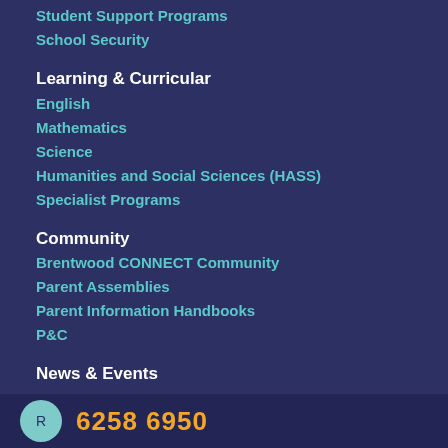Student Support Programs
School Security
Learning & Curricular
English
Mathematics
Science
Humanities and Social Sciences (HASS)
Specialist Programs
Community
Brentwood CONNECT Community
Parent Assemblies
Parent Information Handbooks
P&C
News & Events
Latest News
Newsletters
6258 6950